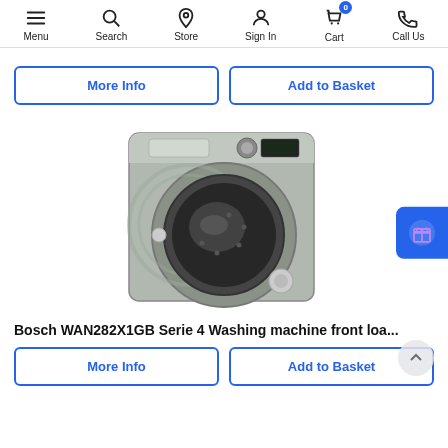Menu Search Store Sign In Cart 0 Call Us
[Figure (other): Navigation bar with icons: Menu (hamburger), Search (magnifier), Store (location pin), Sign In (person), Cart (basket with badge 0), Call Us (phone)]
More Info
Add to Basket
[Figure (photo): Bosch WAN282X1GB Serie 4 front-loading washing machine in silver/stainless finish, shown from front-left angle]
Bosch WAN282X1GB Serie 4 Washing machine front loa...
More Info
Add to Basket